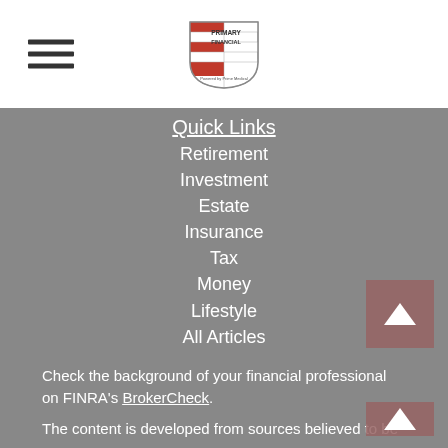Primary Financial — navigation header with hamburger menu and logo
Quick Links
Retirement
Investment
Estate
Insurance
Tax
Money
Lifestyle
All Articles
All Videos
All Calculators
All Presentations
Check the background of your financial professional on FINRA's BrokerCheck.
The content is developed from sources believed to be